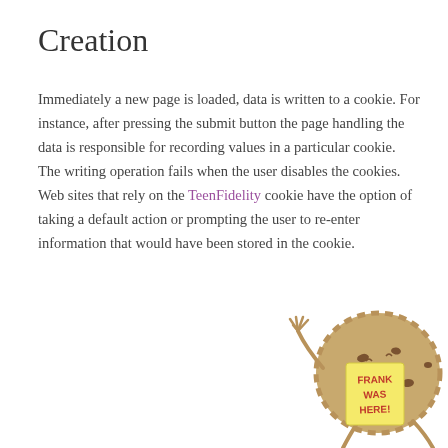Creation
Immediately a new page is loaded, data is written to a cookie. For instance, after pressing the submit button the page handling the data is responsible for recording values in a particular cookie. The writing operation fails when the user disables the cookies. Web sites that rely on the TeenFidelity cookie have the option of taking a default action or prompting the user to re-enter information that would have been stored in the cookie.
[Figure (illustration): A cartoon cookie character holding a sticky note that reads FRANK WAS HERE!, with arms and a waving hand gesture]